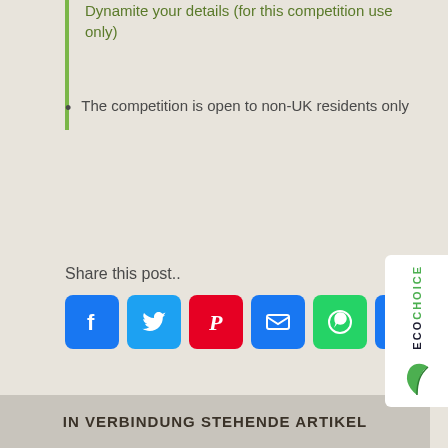Dynamite your details (for this competition use only)
The competition is open to non-UK residents only
Share this post..
[Figure (infographic): Social media share buttons: Facebook (blue), Twitter (blue), Pinterest (red), Email (blue), WhatsApp (green), Plus/More (blue)]
IN VERBINDUNG STEHENDE ARTIKEL
[Figure (logo): EcoChoice logo on sidebar, white background with green leaf icon]